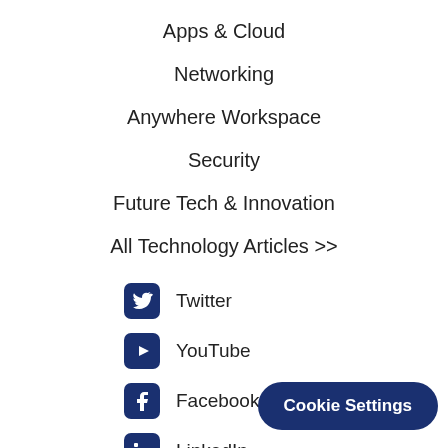Apps & Cloud
Networking
Anywhere Workspace
Security
Future Tech & Innovation
All Technology Articles >>
Twitter
YouTube
Facebook
LinkedIn
Contact Sh...
Cookie Settings